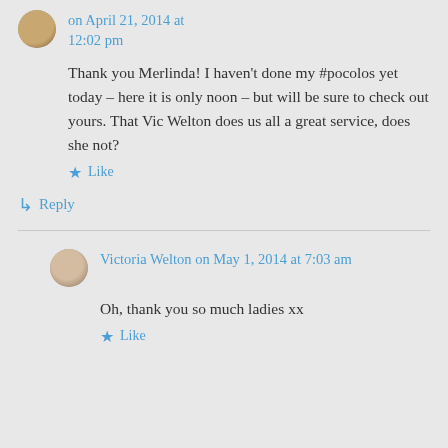on April 21, 2014 at 12:02 pm
Thank you Merlinda! I haven't done my #pocolos yet today – here it is only noon – but will be sure to check out yours. That Vic Welton does us all a great service, does she not?
Like
Reply
Victoria Welton on May 1, 2014 at 7:03 am
Oh, thank you so much ladies xx
Like